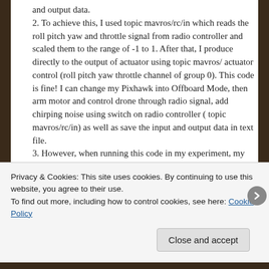and output data. 2. To achieve this, I used topic mavros/rc/in which reads the roll pitch yaw and throttle signal from radio controller and scaled them to the range of -1 to 1. After that, I produce directly to the output of actuator using topic mavros/ actuator control (roll pitch yaw throttle channel of group 0). This code is fine! I can change my Pixhawk into Offboard Mode, then arm motor and control drone through radio signal, add chirping noise using switch on radio controller ( topic mavros/rc/in) as well as save the input and output data in text file. 3. However, when running this code in my experiment, my drone oscillates a lot in take-off
Privacy & Cookies: This site uses cookies. By continuing to use this website, you agree to their use.
To find out more, including how to control cookies, see here: Cookie Policy